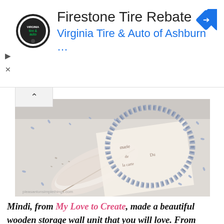[Figure (other): Advertisement banner: Firestone Tire Rebate from Virginia Tire & Auto of Ashburn. Shows a circular tire & auto logo on the left, a blue navigation arrow icon on the right, play and X controls on the far left, and a collapse/chevron button below.]
[Figure (photo): Close-up photograph of a feather and a dried lavender wreath or loop resting on a vintage handwritten card/paper, with scattered lavender seeds on a white surface. Watermark text reads 'pleasantonsimplethings.com'.]
Mindi, from My Love to Create, made a beautiful wooden storage wall unit that you will love. From scratch!! If you